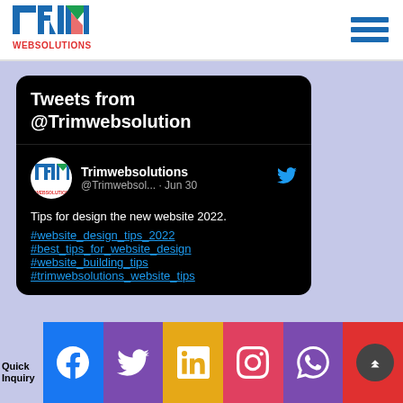[Figure (logo): TRIM WEBSOLUTIONS logo with T, R, I, M letters in blue, green, red colors and 'WEBSOLUTIONS' text in red below]
[Figure (illustration): Hamburger menu icon - three horizontal blue lines stacked]
Tweets from @Trimwebsolution
Trimwebsolutions @Trimwebsol... · Jun 30
Tips for design the new website 2022. #website_design_tips_2022 #best_tips_for_website_design #website_building_tips #trimwebsolutions_website_tips
[Figure (illustration): Social media icon bar: Facebook (blue), Twitter/bird (purple), LinkedIn (yellow), Instagram (pink/red), WhatsApp (purple), Phone (red)]
Quick Inquiry